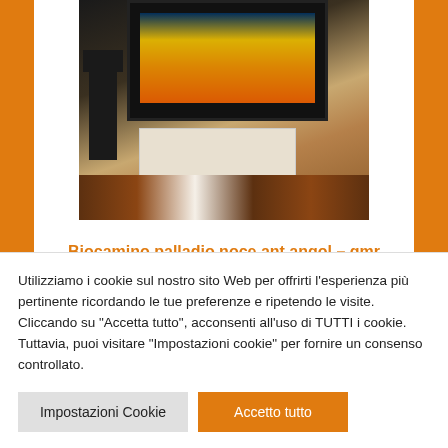[Figure (photo): Product photo of a bio fireplace (biocamino) in a modern living room setting, wall-mounted fireplace with orange flame, lamp, white coffee table, patterned rug]
Biocamino palladio noce ant.angol – gmr
450,00 €
Utilizziamo i cookie sul nostro sito Web per offrirti l'esperienza più pertinente ricordando le tue preferenze e ripetendo le visite. Cliccando su "Accetta tutto", acconsenti all'uso di TUTTI i cookie. Tuttavia, puoi visitare "Impostazioni cookie" per fornire un consenso controllato.
Impostazioni Cookie
Accetto tutto